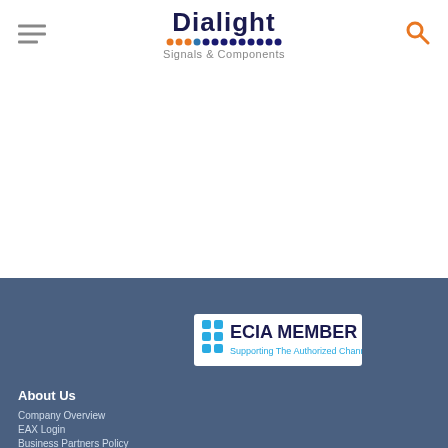[Figure (logo): Dialight Signals & Components logo with colored dots and hamburger menu icon on left, orange search icon on right]
[Figure (logo): ECIA MEMBER Supporting The Authorized Channel badge/logo]
About Us
Company Overview
EAX Login
Business Partners Policy